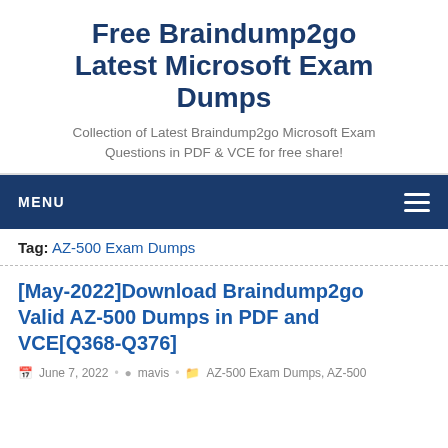Free Braindump2go Latest Microsoft Exam Dumps
Collection of Latest Braindump2go Microsoft Exam Questions in PDF & VCE for free share!
MENU
Tag: AZ-500 Exam Dumps
[May-2022]Download Braindump2go Valid AZ-500 Dumps in PDF and VCE[Q368-Q376]
June 7, 2022  •  mavis  •  AZ-500 Exam Dumps, AZ-500